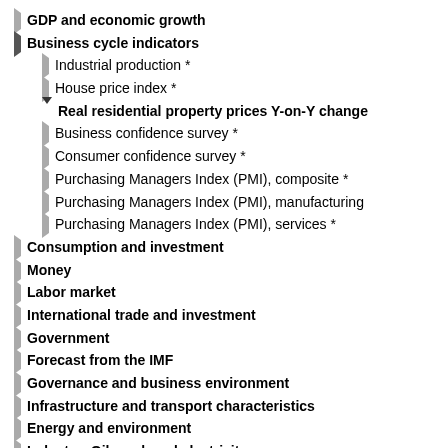GDP and economic growth
Business cycle indicators
Industrial production *
House price index *
Real residential property prices Y-on-Y change
Business confidence survey *
Consumer confidence survey *
Purchasing Managers Index (PMI), composite *
Purchasing Managers Index (PMI), manufacturing
Purchasing Managers Index (PMI), services *
Consumption and investment
Money
Labor market
International trade and investment
Government
Forecast from the IMF
Governance and business environment
Infrastructure and transport characteristics
Energy and environment
Industry: Oil, coal, and electricity
Energy mix
Agriculture sector
Banking system access and depth